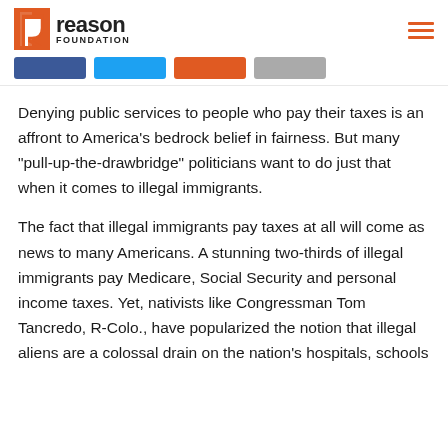Reason Foundation
Denying public services to people who pay their taxes is an affront to America’s bedrock belief in fairness. But many “pull-up-the-drawbridge” politicians want to do just that when it comes to illegal immigrants.
The fact that illegal immigrants pay taxes at all will come as news to many Americans. A stunning two-thirds of illegal immigrants pay Medicare, Social Security and personal income taxes. Yet, nativists like Congressman Tom Tancredo, R-Colo., have popularized the notion that illegal aliens are a colossal drain on the nation’s hospitals, schools